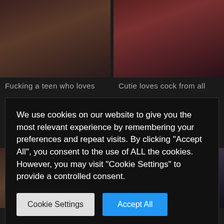[Figure (photo): Thumbnail image top-left, dark bedroom scene]
[Figure (photo): Thumbnail image top-right, dark bedroom scene with red tones]
Fucking a teen who loves
Cutie loves cock from all
We use cookies on our website to give you the most relevant experience by remembering your preferences and repeat visits. By clicking "Accept All", you consent to the use of ALL the cookies. However, you may visit "Cookie Settings" to provide a controlled consent.
Cookie Settings
Accept All
[Figure (photo): Thumbnail image bottom-left, dark indoor scene]
[Figure (photo): Thumbnail image bottom-right, dark bedroom scene]
You fuck I get a new PC!
Black cock in white holes